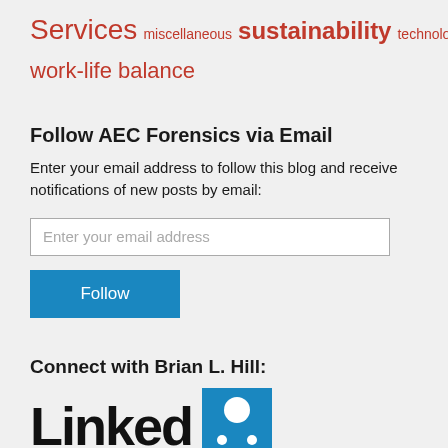Services miscellaneous sustainability technology work-life balance
Follow AEC Forensics via Email
Enter your email address to follow this blog and receive notifications of new posts by email:
Connect with Brian L. Hill:
[Figure (logo): LinkedIn logo — 'Linked' text in large bold black letters followed by a blue square icon with white circle and dots]